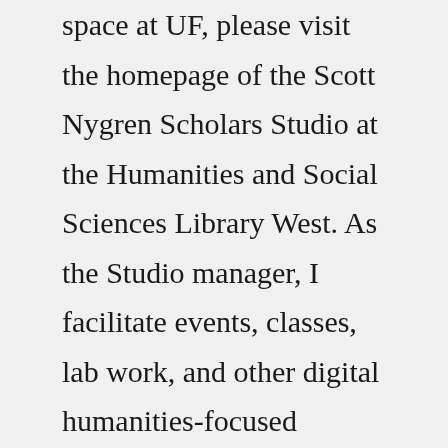space at UF, please visit the homepage of the Scott Nygren Scholars Studio at the Humanities and Social Sciences Library West. As the Studio manager, I facilitate events, classes, lab work, and other digital humanities-focused sessions in that space.We are a boutique consulting firm that believes that governance, strategy, and leadership are interconnected. By focusing our attention on boards of directors, our